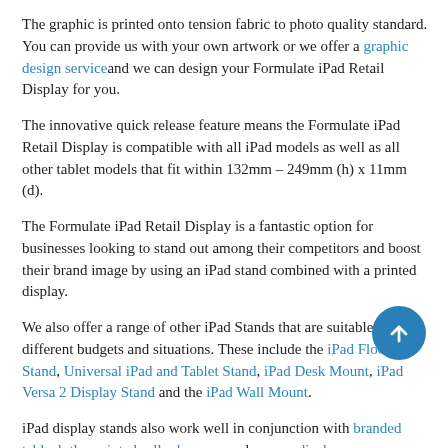The graphic is printed onto tension fabric to photo quality standard. You can provide us with your own artwork or we offer a graphic design service and we can design your Formulate iPad Retail Display for you.
The innovative quick release feature means the Formulate iPad Retail Display is compatible with all iPad models as well as all other tablet models that fit within 132mm – 249mm (h) x 11mm (d).
The Formulate iPad Retail Display is a fantastic option for businesses looking to stand out among their competitors and boost their brand image by using an iPad stand combined with a printed display.
We also offer a range of other iPad Stands that are suitable for different budgets and situations. These include the iPad Floor Stand, Universal iPad and Tablet Stand, iPad Desk Mount, iPad Versa 2 Display Stand and the iPad Wall Mount.
iPad display stands also work well in conjunction with branded tablecloths, printed roller banners and pop up displays.
For more information about our iPad Display Stands or help selecting the right tablet display for you, please contact us or call us on 01733 511030.
Permalink: